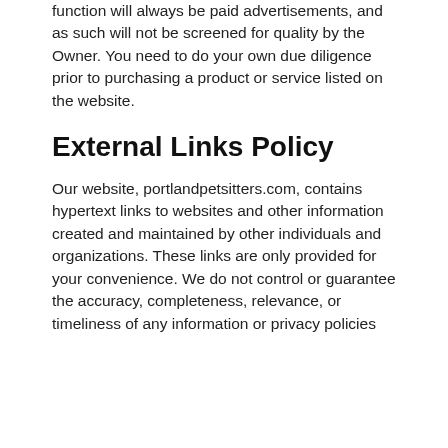function will always be paid advertisements, and as such will not be screened for quality by the Owner. You need to do your own due diligence prior to purchasing a product or service listed on the website.
External Links Policy
Our website, portlandpetsitters.com, contains hypertext links to websites and other information created and maintained by other individuals and organizations. These links are only provided for your convenience. We do not control or guarantee the accuracy, completeness, relevance, or timeliness of any information or privacy policies